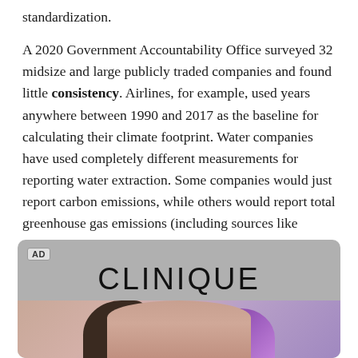standardization.
A 2020 Government Accountability Office surveyed 32 midsize and large publicly traded companies and found little consistency. Airlines, for example, used years anywhere between 1990 and 2017 as the baseline for calculating their climate footprint. Water companies have used completely different measurements for reporting water extraction. Some companies would just report carbon emissions, while others would report total greenhouse gas emissions (including sources like methane).
[Figure (other): Advertisement for Clinique showing the brand name in large serif text on a gray background with a photo of a woman's face below, with brown hair on the left and purple coloring on the right side]